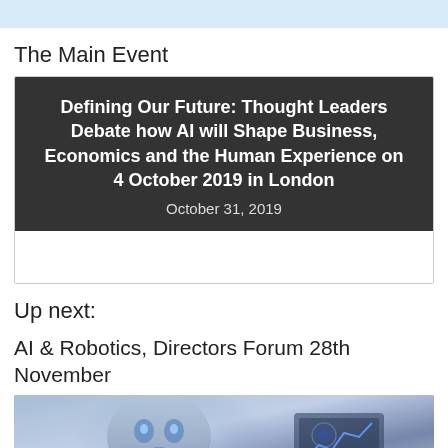The Main Event
Defining Our Future: Thought Leaders Debate how AI will Shape Business, Economics and the Human Experience on 4 October 2019 in London
October 31, 2019
Up next:
AI & Robotics, Directors Forum 28th November
[Figure (photo): AI robot face with futuristic digital interface elements in blue tones]